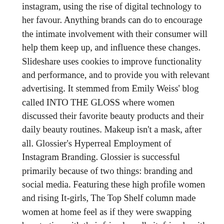instagram, using the rise of digital technology to her favour. Anything brands can do to encourage the intimate involvement with their consumer will help them keep up, and influence these changes. Slideshare uses cookies to improve functionality and performance, and to provide you with relevant advertising. It stemmed from Emily Weiss' blog called INTO THE GLOSS where women discussed their favorite beauty products and their daily beauty routines. Makeup isn't a mask, after all. Glossier's Hyperreal Employment of Instagram Branding. Glossier is successful primarily because of two things: branding and social media. Featuring these high profile women and rising It-girls, The Top Shelf column made women at home feel as if they were swapping beauty tips with their friends—albeit, friends with access to La Mer eye cream. Glossier is a make-up / skincare company created by Emily Weiss. In fact, it has a Slack channel with 100 of their top customers, where they exchange over 1,100 messages weekly. ( Log Out /  Don't discount the power of authenticity. APIdays Paris 2019 -